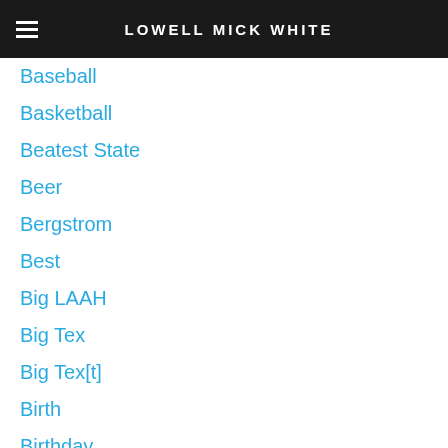LOWELL MICK WHITE
Baseball
Basketball
Beatest State
Beer
Bergstrom
Best
Big LAAH
Big Tex
Big Tex[t]
Birth
Birthday
Black Box
Blizzards
Blocker Building
Blood
Bluer Even Than The Sky Above
Bob Dylan